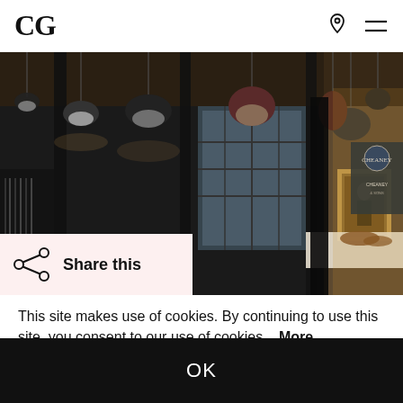CG
[Figure (photo): Interior of a shoe store (Cheaney) with hanging pendant lights, dark columns, framed portrait painting, and leather shoes on a display table. Store signage visible on right side.]
Share this
This site makes use of cookies. By continuing to use this site, you consent to our use of cookies.   More information
OK